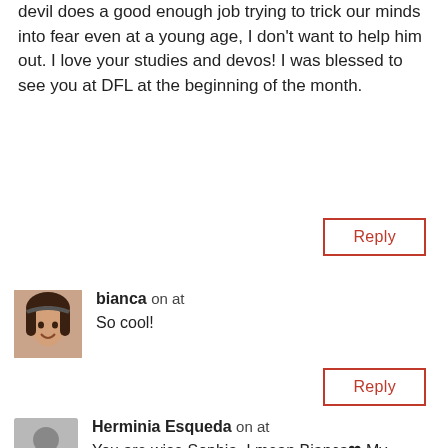devil does a good enough job trying to trick our minds into fear even at a young age, I don't want to help him out. I love your studies and devos! I was blessed to see you at DFL at the beginning of the month.
Reply
bianca on at
So cool!
Reply
Herminia Esqueda on at
You are wise Sophia..I mean Bianca❤ My mamasita would send us off with pillowcases. We emptied them in the car so